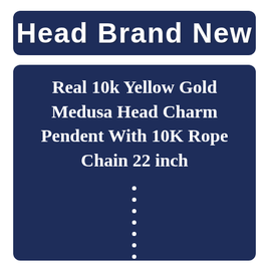Head Brand New
Real 10k Yellow Gold Medusa Head Charm Pendent With 10K Rope Chain 22 inch
•
•
•
•
•
•
•
•
•